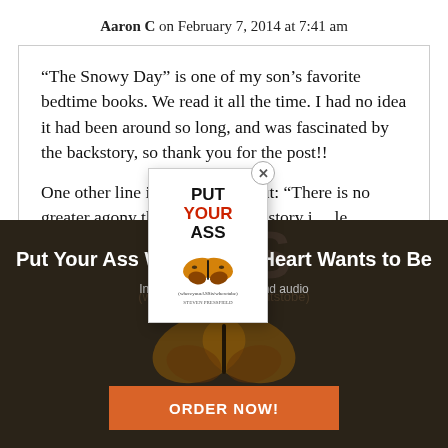Aaron C on February 7, 2014 at 7:41 am
“The Snowy Day” is one of my son’s favorite bedtime books. We read it all the time. I had no idea it had been around so long, and was fascinated by the backstory, so thank you for the post!!
One other line in thi…od out: “There is no greater agony than b…untold story i…le
[Figure (illustration): Book cover popup for 'Put Your Ass Where Your Heart Wants to Be' with a butterfly image, overlaid on a dark background advertisement. Includes a close (X) button.]
Put Your Ass Where Your Heart Wants to Be
In paperback, eBook, and audio
ORDER NOW!